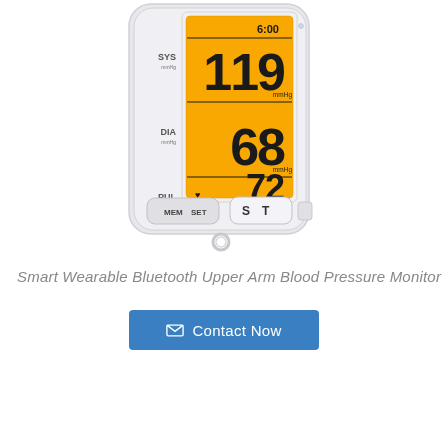[Figure (photo): Smart Wearable Bluetooth Upper Arm Blood Pressure Monitor device showing display with SYS 119 mmHg, DIA 68 mmHg, PUL 72 /min at 6:00, with MEM SET and S T buttons]
Smart Wearable Bluetooth Upper Arm Blood Pressure Monitor
Contact Now